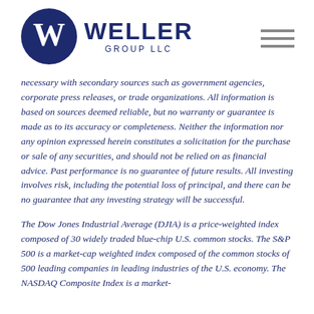WELLER GROUP LLC
necessary with secondary sources such as government agencies, corporate press releases, or trade organizations. All information is based on sources deemed reliable, but no warranty or guarantee is made as to its accuracy or completeness. Neither the information nor any opinion expressed herein constitutes a solicitation for the purchase or sale of any securities, and should not be relied on as financial advice. Past performance is no guarantee of future results. All investing involves risk, including the potential loss of principal, and there can be no guarantee that any investing strategy will be successful.
The Dow Jones Industrial Average (DJIA) is a price-weighted index composed of 30 widely traded blue-chip U.S. common stocks. The S&P 500 is a market-cap weighted index composed of the common stocks of 500 leading companies in leading industries of the U.S. economy. The NASDAQ Composite Index is a market-